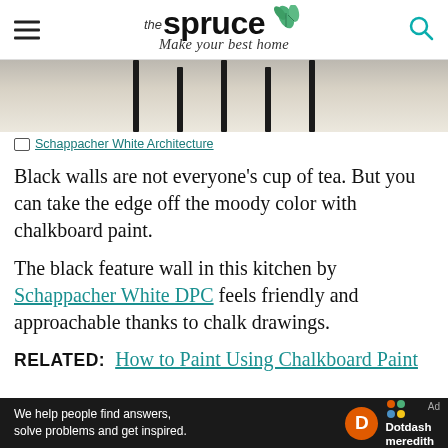the spruce — Make your best home
[Figure (photo): Bottom portion of a photo showing chair legs on a light wood floor]
Schappacher White Architecture
Black walls are not everyone's cup of tea. But you can take the edge off the moody color with chalkboard paint.
The black feature wall in this kitchen by Schappacher White DPC feels friendly and approachable thanks to chalk drawings.
RELATED: How to Paint Using Chalkboard Paint
[Figure (logo): Dotdash Meredith advertisement banner: 'We help people find answers, solve problems and get inspired.']